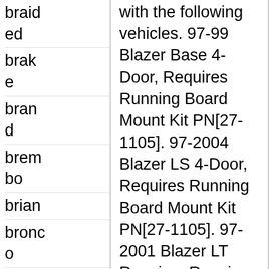braided
brake
brand
brembo
brian
bronco
bruno
build
building
builds
built
bulb
bull
bump
with the following vehicles. 97-99 Blazer Base 4-Door, Requires Running Board Mount Kit PN[27-1105]. 97-2004 Blazer LS 4-Door, Requires Running Board Mount Kit PN[27-1105]. 97-2001 Blazer LT Requires Running Board Mount Kit PN[27-1105]. 99-2001 Blazer Trailblazer Requires Running Board Mount Kit PN[27-1105]. 2007,2014 Tahoe Requires Running Board Mount Kit PN[27-1645]. 95-96 Tahoe Base 2-Door, Requires Running Board Mount Kit PN[27-1015]. 97-99 Tahoe Base Requires Running Board Mount Kit PN[27-1015]. 2006 Tahoe Base Requires Running Board Mount Kit PN[27-1645]. 95-99 Tahoe (submodel: LS, LT) 2-Door,